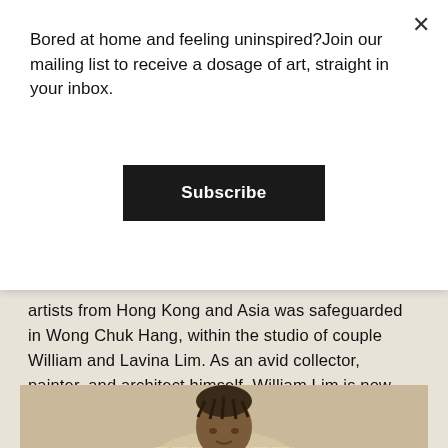Bored at home and feeling uninspired?Join our mailing list to receive a dosage of art, straight in your inbox.
Subscribe
artists from Hong Kong and Asia was safeguarded in Wong Chuk Hang, within the studio of couple William and Lavina Lim. As an avid collector, painter, and architect himself, William Lim is now donating a total of 90 artworks to M+, collectively entitled The Living Collection, ... Continued
[Figure (photo): Photo of a person, partially visible, wearing a plaid/checkered jacket, cropped at bottom of page]